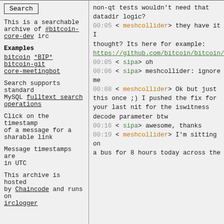Search
This is a searchable archive of #bitcoin-core-dev irc
Examples
bitcoin *BIP*
bitcoin-git
core-meetingbot
Search supports standard MySQL fulltext search operations
Click on the timestamp of a message for a sharable link
Message timestamps are in UTC
This archive is hosted by Chaincode and runs on irclogger
non-qt tests wouldn't need that datadir logic?
00:05 < meshcollider> they have it I thought? Its here for example: https://github.com/bitcoin/bitcoin/bl
00:05 < sipa> oh
00:06 < sipa> meshcollider: ignore me
00:08 < meshcollider> Ok but just this once ;) I pushed the fix for your last nit for the iswitness decode parameter btw
00:16 < sipa> awesome, thanks
00:19 < meshcollider> I'm sitting on a bus for 8 hours today across the